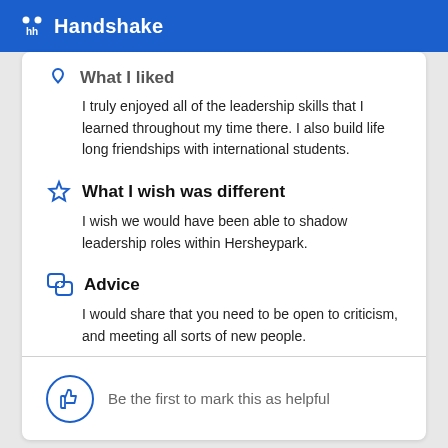Handshake
What I liked
I truly enjoyed all of the leadership skills that I learned throughout my time there. I also build life long friendships with international students.
What I wish was different
I wish we would have been able to shadow leadership roles within Hersheypark.
Advice
I would share that you need to be open to criticism, and meeting all sorts of new people.
Be the first to mark this as helpful